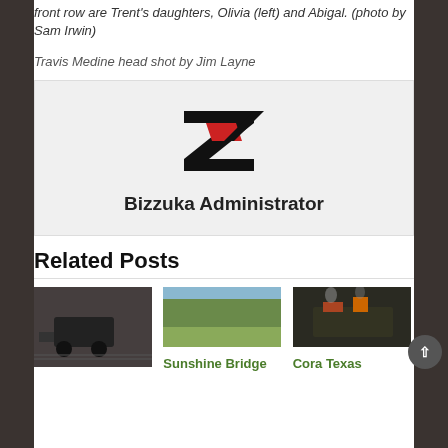front row are Trent's daughters, Olivia (left) and Abigal. (photo by Sam Irwin)
Travis Medine head shot by Jim Layne
[Figure (logo): Bizzuka logo — stylized Z with black and red elements]
Bizzuka Administrator
Related Posts
[Figure (photo): Farm machinery harvesting in a muddy field, black and white tones]
[Figure (photo): Green sugarcane field under overcast sky]
Sunshine Bridge
[Figure (photo): Industrial machinery or plant with smoke and colorful equipment]
Cora Texas